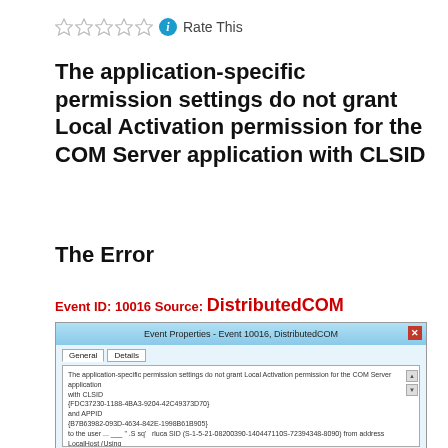Rate This
The application-specific permission settings do not grant Local Activation permission for the COM Server application with CLSID
The Error
Event ID: 10016 Source: DistributedCOM
[Figure (screenshot): Windows Event Properties dialog box showing Event 10016, DistributedCOM error. The dialog has General and Details tabs. The message text describes application-specific permission settings not granting Local Activation permission for a COM Server application with CLSID and APPID, running in application container Unavailable. The Log Name shows System.]